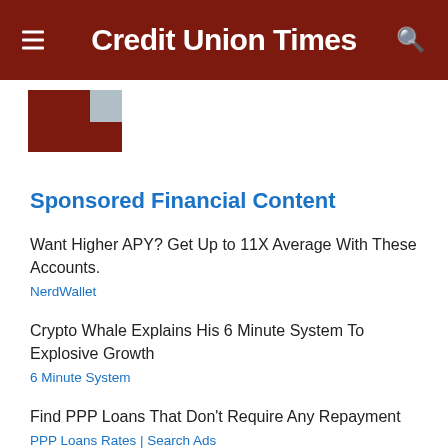Credit Union Times
[Figure (logo): Credit Union Times logo graphic — dark red blocks]
Sponsored Financial Content
Want Higher APY? Get Up to 11X Average With These Accounts.
NerdWallet
Crypto Whale Explains His 6 Minute System To Explosive Growth
6 Minute System
Find PPP Loans That Don't Require Any Repayment
PPP Loans Rates | Search Ads
Motley Fool Issues Rare "All In" Buy Alert
The Motley Fool